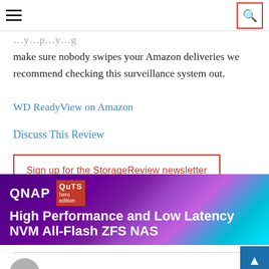hamburger menu | search button
make sure nobody swipes your Amazon deliveries we recommend checking this surveillance system out.
WD ReadyView on Amazon
Discuss This Review
Sign up for the StorageReview newsletter
[Figure (illustration): QNAP QuTS hero edition advertisement banner: High Performance and Low Latency NVM All-Flash ZFS NAS]
STORAGEREVIEW CONSUMER DES…